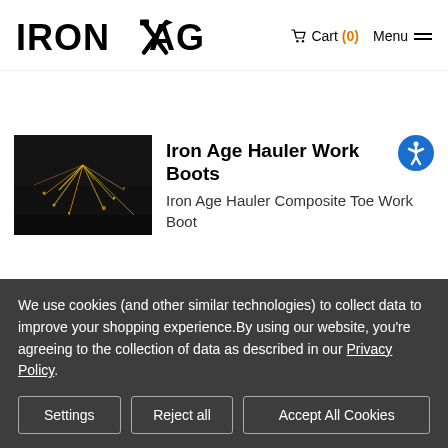Iron Age  Cart (0)  Menu
[Figure (photo): Dark industrial photo showing sparks flying from metalworking]
Iron Age Hauler Work Boots
Iron Age Hauler Composite Toe Work Boot
We use cookies (and other similar technologies) to collect data to improve your shopping experience.By using our website, you're agreeing to the collection of data as described in our Privacy Policy.
Settings
Reject all
Accept All Cookies